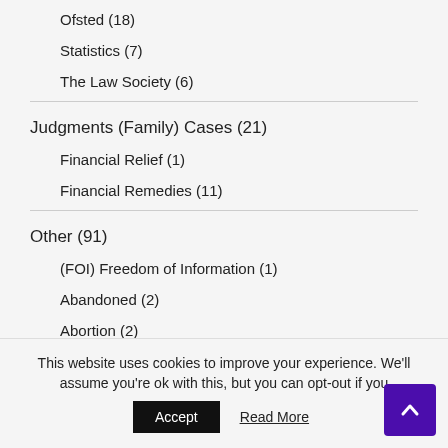Ofsted (18)
Statistics (7)
The Law Society (6)
Judgments (Family) Cases (21)
Financial Relief (1)
Financial Remedies (11)
Other (91)
(FOI) Freedom of Information (1)
Abandoned (2)
Abortion (2)
asylum (1)
This website uses cookies to improve your experience. We'll assume you're ok with this, but you can opt-out if you